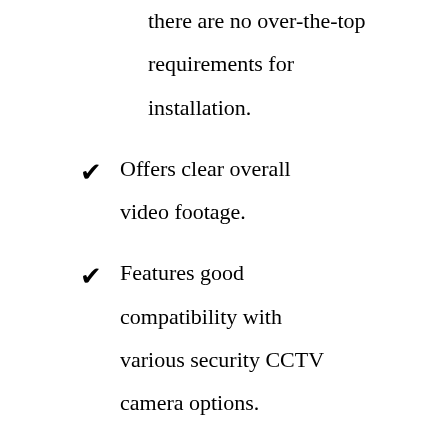there are no over-the-top requirements for installation.
Offers clear overall video footage.
Features good compatibility with various security CCTV camera options.